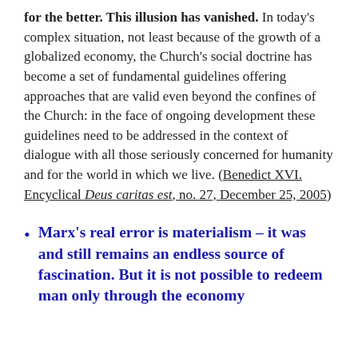for the better. This illusion has vanished. In today's complex situation, not least because of the growth of a globalized economy, the Church's social doctrine has become a set of fundamental guidelines offering approaches that are valid even beyond the confines of the Church: in the face of ongoing development these guidelines need to be addressed in the context of dialogue with all those seriously concerned for humanity and for the world in which we live. (Benedict XVI. Encyclical Deus caritas est, no. 27, December 25, 2005)
Marx's real error is materialism – it was and still remains an endless source of fascination. But it is not possible to redeem man only through the economy